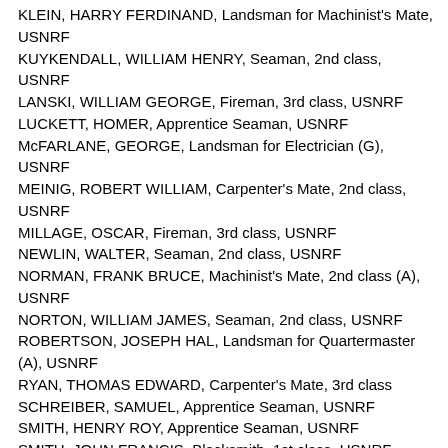KLEIN, HARRY FERDINAND, Landsman for Machinist's Mate, USNRF
KUYKENDALL, WILLIAM HENRY, Seaman, 2nd class, USNRF
LANSKI, WILLIAM GEORGE, Fireman, 3rd class, USNRF
LUCKETT, HOMER, Apprentice Seaman, USNRF
McFARLANE, GEORGE, Landsman for Electrician (G), USNRF
MEINIG, ROBERT WILLIAM, Carpenter's Mate, 2nd class, USNRF
MILLAGE, OSCAR, Fireman, 3rd class, USNRF
NEWLIN, WALTER, Seaman, 2nd class, USNRF
NORMAN, FRANK BRUCE, Machinist's Mate, 2nd class (A), USNRF
NORTON, WILLIAM JAMES, Seaman, 2nd class, USNRF
ROBERTSON, JOSEPH HAL, Landsman for Quartermaster (A), USNRF
RYAN, THOMAS EDWARD, Carpenter's Mate, 3rd class
SCHREIBER, SAMUEL, Apprentice Seaman, USNRF
SMITH, HENRY ROY, Apprentice Seaman, USNRF
SMITH, JOHN FRANCIS, Blacksmith, 1st class, USNRF
STEELE, WILLIAM EDWARD, Apprentice Seaman, USNRF
STONE, ACQUILLAR DURHAM, Seaman, 2nd class, USNRF
STRONG, JOHN RAY, Apprentice Seaman, USNRF